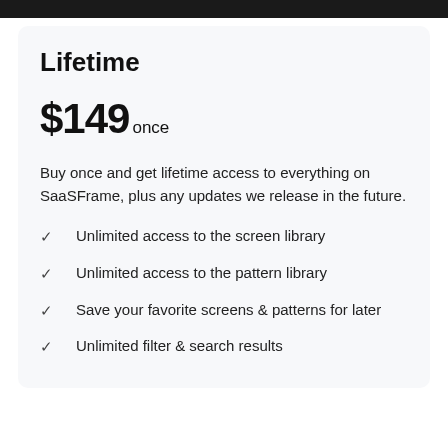Lifetime
$149 once
Buy once and get lifetime access to everything on SaaSFrame, plus any updates we release in the future.
Unlimited access to the screen library
Unlimited access to the pattern library
Save your favorite screens & patterns for later
Unlimited filter & search results